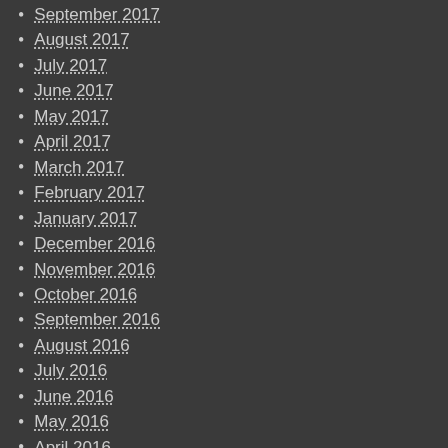September 2017
August 2017
July 2017
June 2017
May 2017
April 2017
March 2017
February 2017
January 2017
December 2016
November 2016
October 2016
September 2016
August 2016
July 2016
June 2016
May 2016
April 2016
March 2016
February 2016
January 2016
December 2015
November 2015